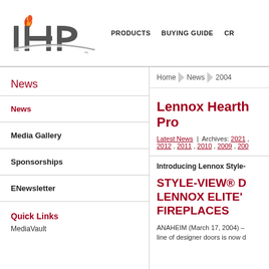[Figure (logo): IHP (International Hearth Products) logo with flame icon above stylized IHP letters]
PRODUCTS   BUYING GUIDE   CR
News
News
Media Gallery
Sponsorships
ENewsletter
Quick Links
MediaVault
Home > News > 2004
Lennox Hearth Pro
Latest News | Archives: 2021 , 2012 , 2011 , 2010 , 2009 , 200
Introducing Lennox Style-
STYLE-VIEW® D LENNOX ELITE' FIREPLACES
ANAHEIM (March 17, 2004) – line of designer doors is now d